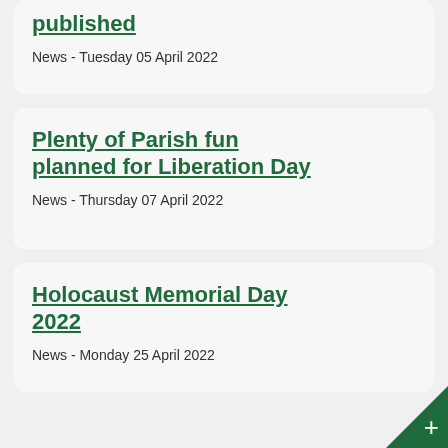published
News - Tuesday 05 April 2022
Plenty of Parish fun planned for Liberation Day
News - Thursday 07 April 2022
Holocaust Memorial Day 2022
News - Monday 25 April 2022